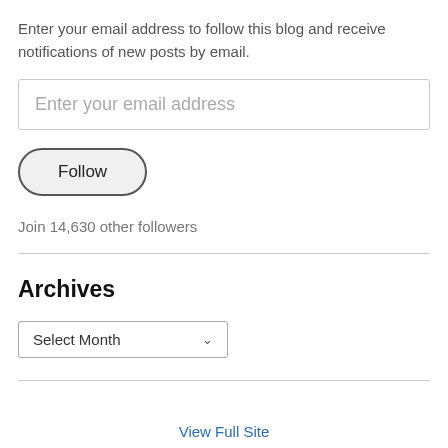Enter your email address to follow this blog and receive notifications of new posts by email.
Enter your email address
Follow
Join 14,630 other followers
Archives
Select Month
View Full Site